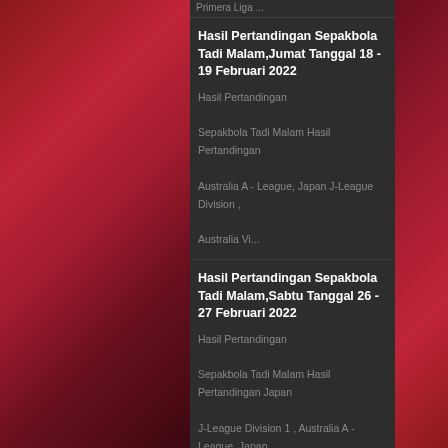Primera Liga ...
Hasil Pertandingan Sepakbola Tadi Malam,Jumat Tanggal 18 - 19 Februari 2022
Hasil Pertandingan Sepakbola Tadi Malam Hasil Pertandingan Australia A - League, Japan J-League Division , Australia Vi...
Hasil Pertandingan Sepakbola Tadi Malam,Sabtu Tanggal 26 - 27 Februari 2022
Hasil Pertandingan Sepakbola Tadi Malam Hasil Pertandingan Japan J-League Division 1 , Australia A - League, Japan J-League D...
HISTAT...